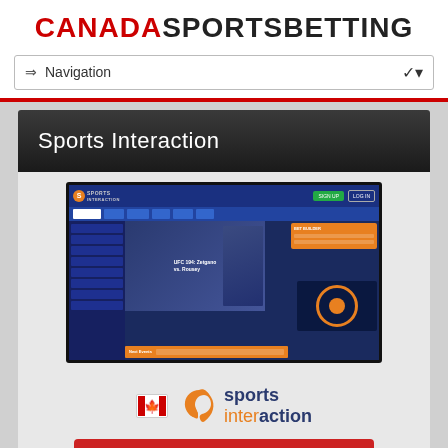CANADASPORTSBETTING
⇒ Navigation
Sports Interaction
[Figure (screenshot): Screenshot of Sports Interaction online betting website showing the homepage with navigation bar, a female MMA fighter promotional image, betting odds panel in orange, and roulette section]
[Figure (logo): Sports Interaction logo with Canadian flag icon, orange swoosh S logo mark, and the text 'sports interaction' in dark blue and orange]
BET NOW